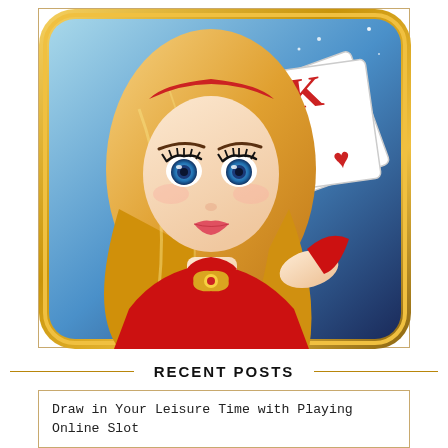[Figure (illustration): Casino game app icon illustration: animated cartoon blonde woman in red dress holding playing cards (King of Hearts), set against a blue starry background with golden rounded-rectangle border]
RECENT POSTS
Draw in Your Leisure Time with Playing Online Slot